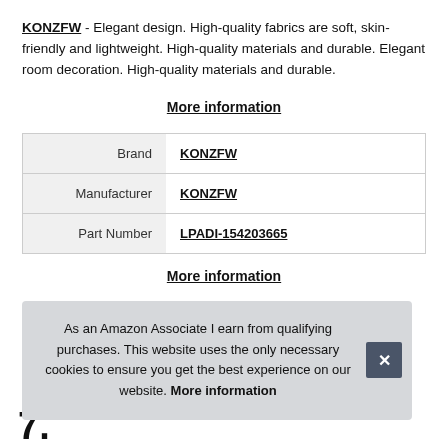KONZFW - Elegant design. High-quality fabrics are soft, skin-friendly and lightweight. High-quality materials and durable. Elegant room decoration. High-quality materials and durable.
More information
| Brand | KONZFW |
| Manufacturer | KONZFW |
| Part Number | LPADI-154203665 |
More information
As an Amazon Associate I earn from qualifying purchases. This website uses the only necessary cookies to ensure you get the best experience on our website. More information
7.